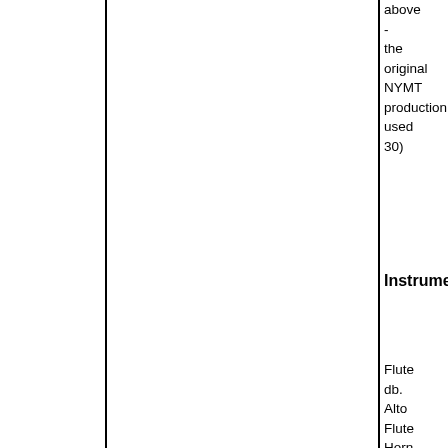above - the original NYMT production used 30)
Instrument
Flute db. Alto Flute Horn in F Percuss - Bass Drum Bell Tree Cow Bell Glocken Side Drum Sleigh Bells 2